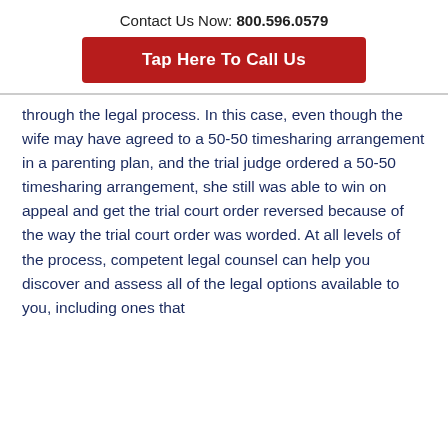Contact Us Now: 800.596.0579
Tap Here To Call Us
through the legal process. In this case, even though the wife may have agreed to a 50-50 timesharing arrangement in a parenting plan, and the trial judge ordered a 50-50 timesharing arrangement, she still was able to win on appeal and get the trial court order reversed because of the way the trial court order was worded. At all levels of the process, competent legal counsel can help you discover and assess all of the legal options available to you, including ones that